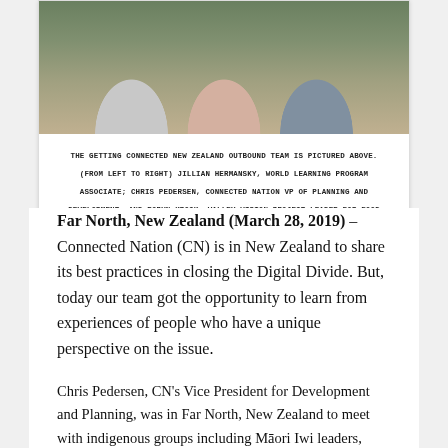[Figure (photo): Group photo of the Getting Connected New Zealand Outbound Team, three people pictured from the shoulders up, outdoors.]
THE GETTING CONNECTED NEW ZEALAND OUTBOUND TEAM IS PICTURED ABOVE. (FROM LEFT TO RIGHT) JILLIAN HERMANSKY, WORLD LEARNING PROGRAM ASSOCIATE; CHRIS PEDERSEN, CONNECTED NATION VP OF PLANNING AND DEVELOPMENT; AND ROBYN KROCK, VALLEY VISION PROJECT LEADER FOR FOOD AND AG ECONOMY.
Far North, New Zealand (March 28, 2019) – Connected Nation (CN) is in New Zealand to share its best practices in closing the Digital Divide. But, today our team got the opportunity to learn from experiences of people who have a unique perspective on the issue.
Chris Pedersen, CN's Vice President for Development and Planning, was in Far North, New Zealand to meet with indigenous groups including Māori Iwi leaders, tribes, and chiefs to